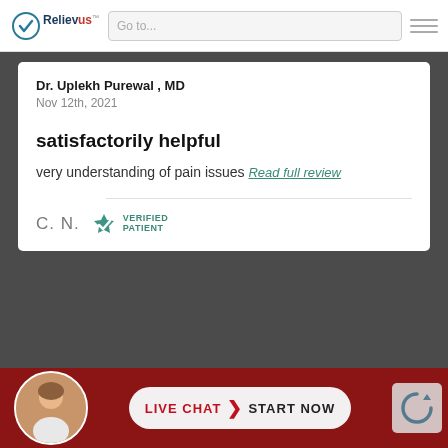Relievus | Go to...
Dr. Uplekh Purewal , MD
Nov 12th, 2021
satisfactorily helpful
very understanding of pain issues Read full review
C. N.  VERIFIED PATIENT
1 to 5 of 615 | NEXT
POWERED BY doctor.com
LIVE CHAT > START NOW